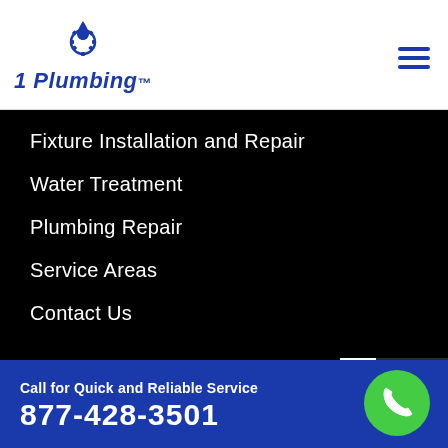[Figure (logo): 1 Plumbing logo with water drop and gear icon in blue]
Fixture Installation and Repair
Water Treatment
Plumbing Repair
Service Areas
Contact Us
Contact Us
Call for Quick and Reliable Service
877-428-3501